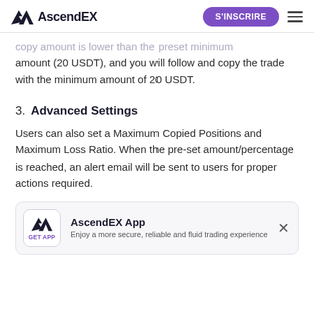AscendEX | S'INSCRIRE
copy amount is lower than the preset minimum amount (20 USDT), and you will follow and copy the trade with the minimum amount of 20 USDT.
3. Advanced Settings
Users can also set a Maximum Copied Positions and Maximum Loss Ratio. When the pre-set amount/percentage is reached, an alert email will be sent to users for proper actions required.
[Figure (other): AscendEX App promotional banner with logo icon, 'GET APP' label in purple, title 'AscendEX App', subtitle 'Enjoy a more secure, reliable and fluid trading experience', and a close (×) button.]